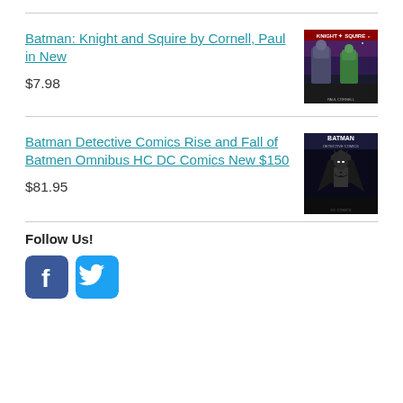Batman: Knight and Squire by Cornell, Paul in New
$7.98
[Figure (illustration): Book cover for Batman: Knight and Squire showing armored characters in action]
Batman Detective Comics Rise and Fall of Batmen Omnibus HC DC Comics New $150
$81.95
[Figure (illustration): Book cover for Batman Detective Comics Rise and Fall of Batmen Omnibus HC]
Follow Us!
[Figure (logo): Facebook logo icon - blue square with white f]
[Figure (logo): Twitter logo icon - blue square with white bird]